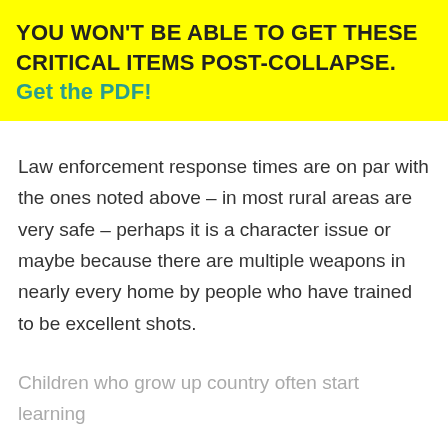YOU WON'T BE ABLE TO GET THESE CRITICAL ITEMS POST-COLLAPSE. Get the PDF!
Law enforcement response times are on par with the ones noted above – in most rural areas are very safe – perhaps it is a character issue or maybe because there are multiple weapons in nearly every home by people who have trained to be excellent shots.
Children who grow up country often start learning